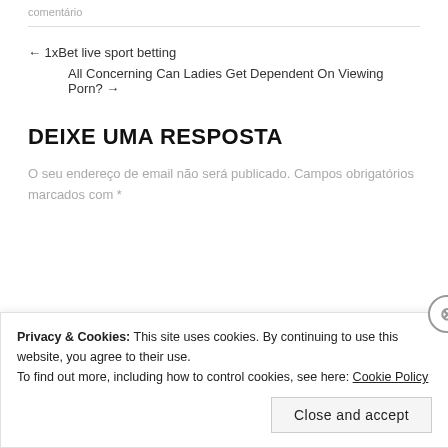comentário
← 1xBet live sport betting
All Concerning Can Ladies Get Dependent On Viewing Porn? →
DEIXE UMA RESPOSTA
O seu endereço de email não será publicado. Campos obrigatórios marcados com *
Privacy & Cookies: This site uses cookies. By continuing to use this website, you agree to their use.
To find out more, including how to control cookies, see here: Cookie Policy
Close and accept